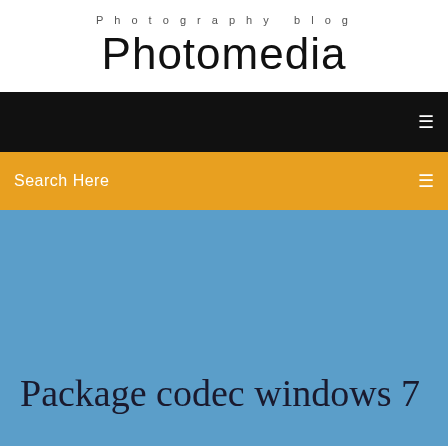Photography blog
Photomedia
Search Here
Package codec windows 7